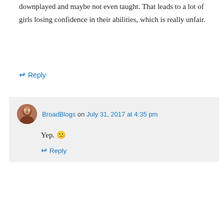downplayed and maybe not even taught. That leads to a lot of girls losing confidence in their abilities, which is really unfair.
↳ Reply
BroadBlogs on July 31, 2017 at 4:35 pm
Yep. 🙁
↳ Reply
tommyselby on July 28, 2017 at 9:59 pm
Throughout my education I have noticed the trend of boys outperforming girls in math, especially in the later years when it became